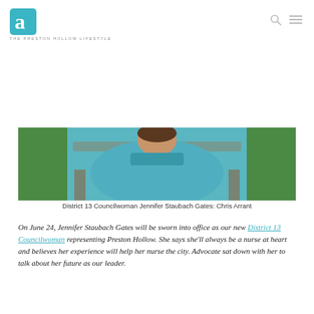THE PRESTON HOLLOW LIFESTYLE
[Figure (photo): Photo of District 13 Councilwoman Jennifer Staubach Gates seated outdoors, wearing a teal/blue outfit, with greenery in the background.]
District 13 Councilwoman Jennifer Staubach Gates: Chris Arrant
On June 24, Jennifer Staubach Gates will be sworn into office as our new District 13 Councilwoman representing Preston Hollow. She says she'll always be a nurse at heart and believes her experience will help her nurse the city. Advocate sat down with her to talk about her future as our leader.